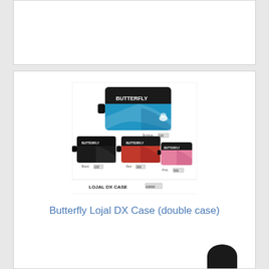[Figure (photo): Top white card area (partial product image cut off at top of page)]
[Figure (photo): Butterfly Lojal DX Case product image showing four cases in Skyblue (125), Black (225), Red (306), and Pink (506) colors with LOJAL DX CASE 63060 label]
Butterfly Lojal DX Case (double case)